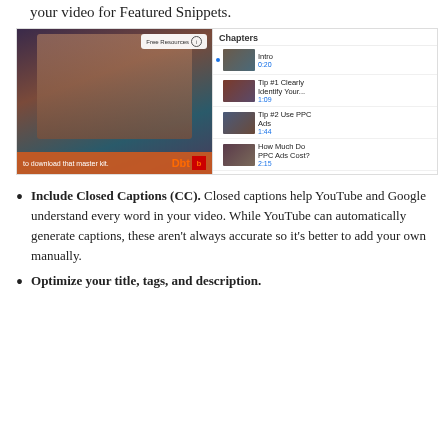your video for Featured Snippets.
[Figure (screenshot): A YouTube video player screenshot showing a person in a red jacket with captions 'to download that master kit.' and a Chapters sidebar showing: Intro (0:20), Tip #1 Clearly Identify Your... (1:09), Tip #2 Use PPC Ads (1:44), How Much Do PPC Ads Cost? (2:15)]
Include Closed Captions (CC). Closed captions help YouTube and Google understand every word in your video. While YouTube can automatically generate captions, these aren't always accurate so it's better to add your own manually.
Optimize your title, tags, and description.